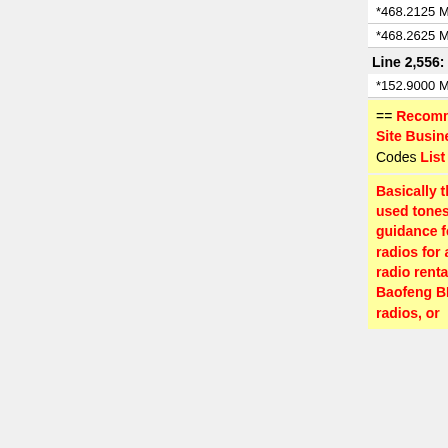| Left | Right |
| --- | --- |
| *468.2125 MHz | *468.2125 MHz |
| *468.2625 MHz | *468.2625 MHz |
Line 2,556:    Line 2,612:
| Left | Right |
| --- | --- |
| *152.9000 MHz | *152.9000 MHz |
- == Recommended Common Itinerant On-Site Business Radio Frequencies Tones Codes List ==
+ ==Commonly Heard CTCSS and DCS Tones Codes For Popular UHF VHF Business Itinerant Frequencies==
- Basically the opposite of the commonly used tones/codes list - intended as guidance for somebody programming radios for a work crew, special event, radio rental, custom programming Baofeng BF-888S, UV-5R, UV-82, Retevis radios, or
+